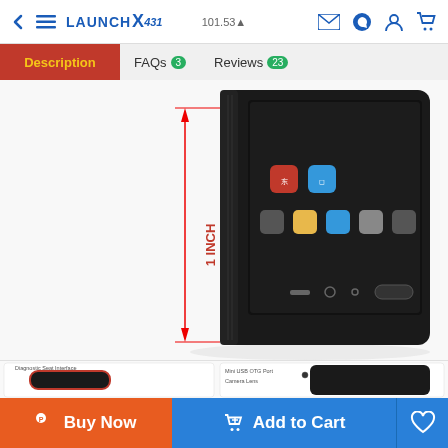LAUNCH X431 — navigation bar with back, menu, logo, and icons for email, WhatsApp, account, cart
Description | FAQs 3 | Reviews 23
[Figure (photo): Launch X431 diagnostic tablet shown from front, displaying Android home screen with apps. A red vertical measurement arrow is labeled '1 INCH' on the left side of the device.]
[Figure (photo): Two product detail images side-by-side: left shows OBD-II connector port labeled 'Diagnostic Seat Interface'; right shows back of device labeled with 'Mini USB OTG Port' and 'Camera Lens'.]
Buy Now  Add to Cart